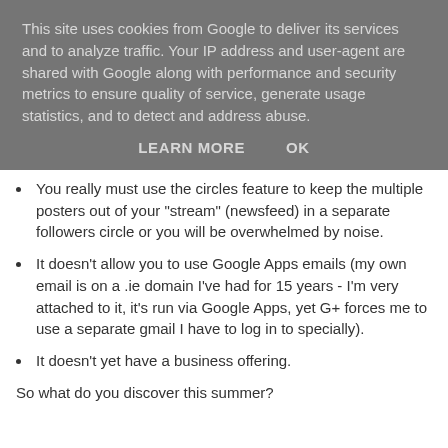This site uses cookies from Google to deliver its services and to analyze traffic. Your IP address and user-agent are shared with Google along with performance and security metrics to ensure quality of service, generate usage statistics, and to detect and address abuse.
LEARN MORE    OK
You really must use the circles feature to keep the multiple posters out of your "stream" (newsfeed) in a separate followers circle or you will be overwhelmed by noise.
It doesn't allow you to use Google Apps emails (my own email is on a .ie domain I've had for 15 years - I'm very attached to it, it's run via Google Apps, yet G+ forces me to use a separate gmail I have to log in to specially).
It doesn't yet have a business offering.
So what do you discover this summer?